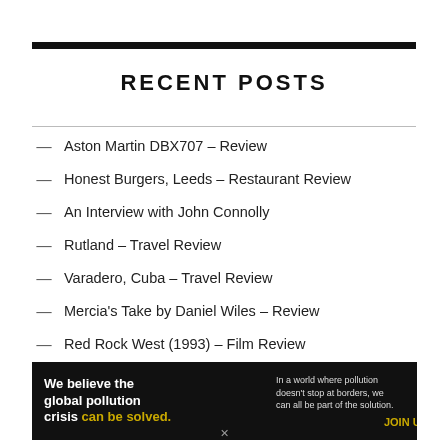RECENT POSTS
Aston Martin DBX707 – Review
Honest Burgers, Leeds – Restaurant Review
An Interview with John Connolly
Rutland – Travel Review
Varadero, Cuba – Travel Review
Mercia's Take by Daniel Wiles – Review
Red Rock West (1993) – Film Review
The Quiet Site, Ullswater, Lake District – Review
[Figure (infographic): Pure Earth advertisement: black background with text 'We believe the global pollution crisis can be solved.' in white/yellow, small print about cross-border pollution and Join Us call to action in yellow, Pure Earth logo on white background on the right.]